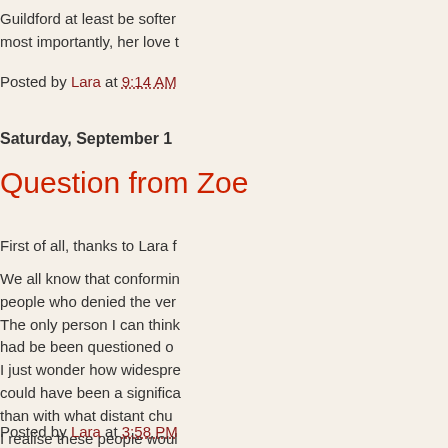Guildford at least be softer most importantly, her love t
Posted by Lara at 9:14 AM
Saturday, September 1
Question from Zoe
First of all, thanks to Lara f
We all know that conformin people who denied the ver The only person I can think had be been questioned o I just wonder how widespre could have been a significa than with what distant chu I realise these people woul Thanks for any input
Posted by Lara at 3:58 PM